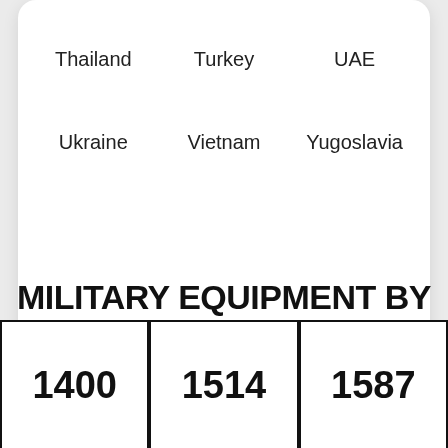Thailand
Turkey
UAE
Ukraine
Vietnam
Yugoslavia
MILITARY EQUIPMENT BY YEAR
1400
1514
1587